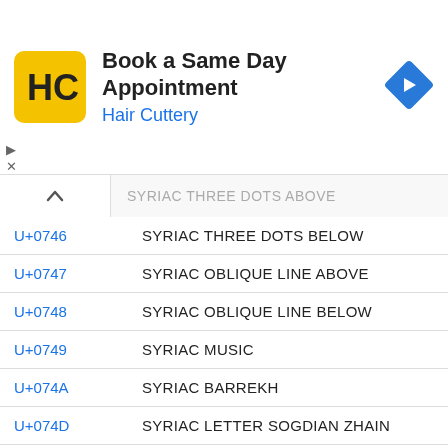[Figure (infographic): Advertisement banner for Hair Cuttery: logo (HC on yellow square), title 'Book a Same Day Appointment', subtitle 'Hair Cuttery', blue arrow direction icon on right. Ad controls (play/close) on left.]
| Code | Name |
| --- | --- |
| U+0745 | SYRIAC THREE DOTS ABOVE |
| U+0746 | SYRIAC THREE DOTS BELOW |
| U+0747 | SYRIAC OBLIQUE LINE ABOVE |
| U+0748 | SYRIAC OBLIQUE LINE BELOW |
| U+0749 | SYRIAC MUSIC |
| U+074A | SYRIAC BARREKH |
| U+074D | SYRIAC LETTER SOGDIAN ZHAIN |
| U+074E | SYRIAC LETTER SOGDIAN KHAPH |
| U+074F | SYRIAC LETTER SOGDIAN FE |
| U+0750 | ARABIC LETTER BEH WITH THREE DOTS HORIZONTALLY BELOW |